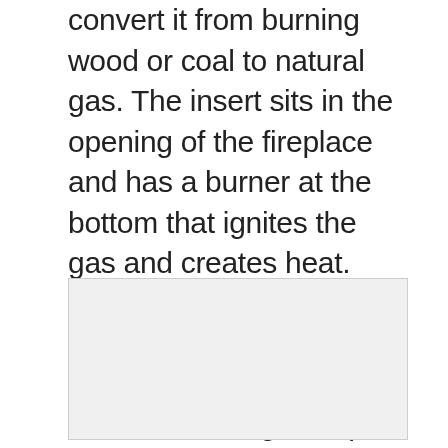convert it from burning wood or coal to natural gas. The insert sits in the opening of the fireplace and has a burner at the bottom that ignites the gas and creates heat. The inserts come in two types, vented and unvented. A vented insert has a flue that goes up the chimney and exhausts the fumes outside. An unvented insert does not have a flue and the gases are released into the room.
[Figure (other): Empty light gray image placeholder box]